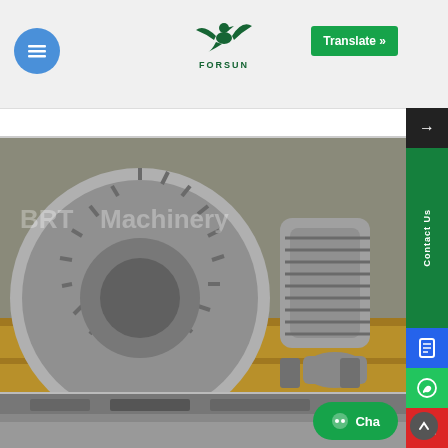[Figure (logo): Forsun logo with eagle/bird graphic and FORSUN text in green]
Translate »
[Figure (photo): Close-up photo of an industrial blower/vacuum pump with aluminum fins and motor on wooden pallet, with text overlay 'BRT Machinery']
Contact Us
Powerful Servo motor systems coupled with helical rack and pinion provide exceptional performance while continuing to deliver greater accuracy, smoother cutting, and quieter running.
[Figure (photo): Partial view of another industrial machine at the bottom of the page]
Cha